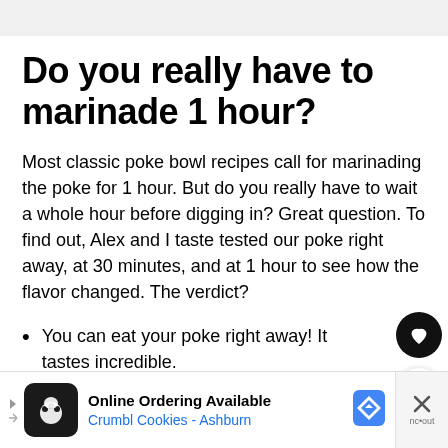Do you really have to marinade 1 hour?
Most classic poke bowl recipes call for marinading the poke for 1 hour. But do you really have to wait a whole hour before digging in? Great question. To find out, Alex and I taste tested our poke right away, at 30 minutes, and at 1 hour to see how the flavor changed. The verdict?
You can eat your poke right away! It tastes incredible.
[Figure (screenshot): Advertisement banner: Online Ordering Available, Crumbl Cookies - Ashburn, with navigation arrow icon and close button]